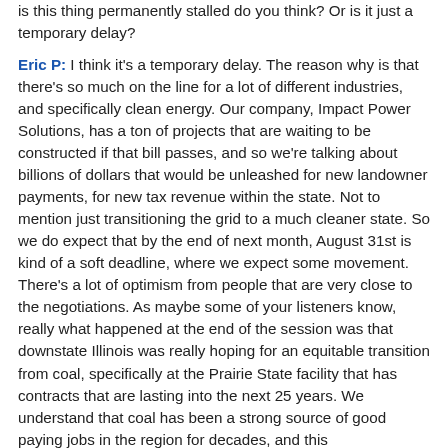is this thing permanently stalled do you think? Or is it just a temporary delay?
Eric P: I think it's a temporary delay. The reason why is that there's so much on the line for a lot of different industries, and specifically clean energy. Our company, Impact Power Solutions, has a ton of projects that are waiting to be constructed if that bill passes, and so we're talking about billions of dollars that would be unleashed for new landowner payments, for new tax revenue within the state. Not to mention just transitioning the grid to a much cleaner state. So we do expect that by the end of next month, August 31st is kind of a soft deadline, where we expect some movement. There's a lot of optimism from people that are very close to the negotiations. As maybe some of your listeners know, really what happened at the end of the session was that downstate Illinois was really hoping for an equitable transition from coal, specifically at the Prairie State facility that has contracts that are lasting into the next 25 years. We understand that coal has been a strong source of good paying jobs in the region for decades, and this